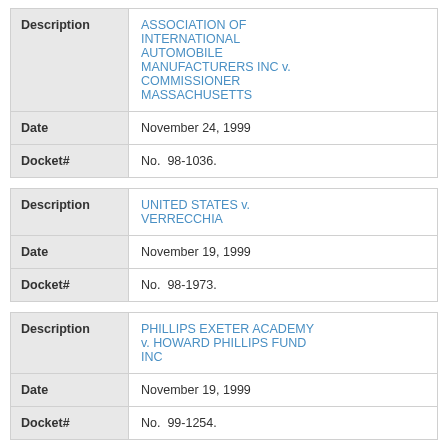| Field | Value |
| --- | --- |
| Description | ASSOCIATION OF INTERNATIONAL AUTOMOBILE MANUFACTURERS INC v. COMMISSIONER MASSACHUSETTS |
| Date | November 24, 1999 |
| Docket# | No.  98-1036. |
| Field | Value |
| --- | --- |
| Description | UNITED STATES v. VERRECCHIA |
| Date | November 19, 1999 |
| Docket# | No.  98-1973. |
| Field | Value |
| --- | --- |
| Description | PHILLIPS EXETER ACADEMY v. HOWARD PHILLIPS FUND INC |
| Date | November 19, 1999 |
| Docket# | No.  99-1254. |
| Field | Value |
| --- | --- |
| Description | GUILLOTY PEREZ v. FUENTES |